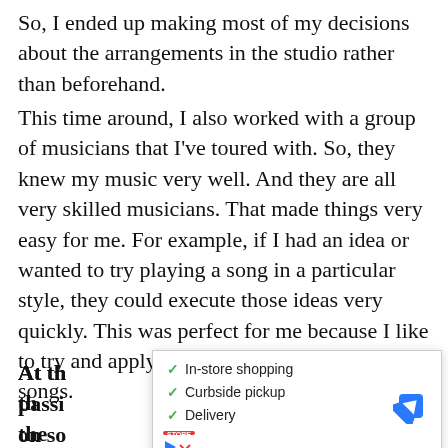So, I ended up making most of my decisions about the arrangements in the studio rather than beforehand.
This time around, I also worked with a group of musicians that I've toured with. So, they knew my music very well. And they are all very skilled musicians. That made things very easy for me. For example, if I had an idea or wanted to try playing a song in a particular style, they could execute those ideas very quickly. This was perfect for me because I like to try and apply different approaches to my songs.
At the [obscured by ad] n the passi[obscured] ore on so[obscured] lf as
[Figure (other): Advertisement overlay showing store services: In-store shopping, Curbside pickup, Delivery. Contains a store logo, navigation arrow icon, play button, and close button.]